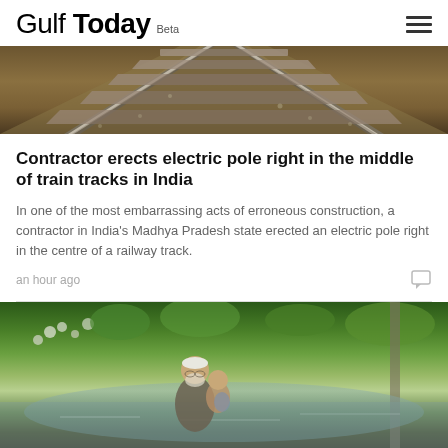Gulf Today Beta
[Figure (photo): Aerial/perspective view of railway train tracks receding into the distance with gravel ballast and concrete sleepers]
Contractor erects electric pole right in the middle of train tracks in India
In one of the most embarrassing acts of erroneous construction, a contractor in India's Madhya Pradesh state erected an electric pole right in the centre of a railway track.
an hour ago
[Figure (photo): An elderly man wearing a white cap and glasses carries a young child through floodwaters, with green vegetation visible in the background]